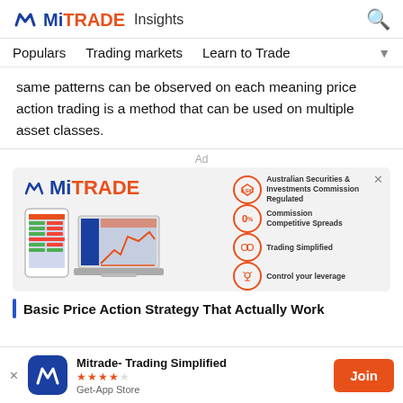MiTRADE Insights
Populars   Trading markets   Learn to Trade
same patterns can be observed on each meaning price action trading is a method that can be used on multiple asset classes.
Ad
[Figure (screenshot): MiTRADE advertisement banner showing the MiTRADE logo, trading platform screenshots on phone and laptop, and four orange circular feature icons: ASIC (Australian Securities & Investments Commission Regulated), 0% Commission Competitive Spreads, Trading Simplified, Control your leverage]
Basic Price Action Strategy That Actually Work
[Figure (screenshot): App download bar showing MiTRADE app icon, name 'Mitrade- Trading Simplified', 4.5 star rating, 'Get-App Store' label, and an orange Join button]